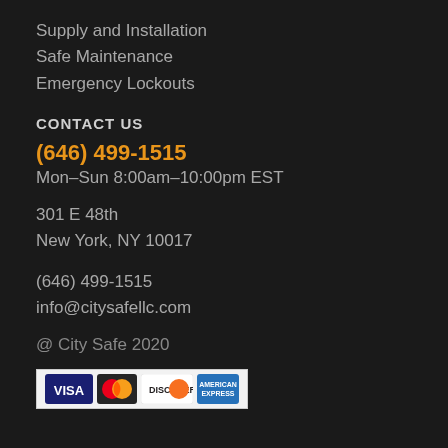Supply and Installation
Safe Maintenance
Emergency Lockouts
CONTACT US
(646) 499-1515
Mon–Sun 8:00am–10:00pm EST
301 E 48th
New York, NY 10017
(646) 499-1515
info@citysafellc.com
@ City Safe 2020
[Figure (other): Payment method logos: Visa, Mastercard, Discover, American Express]